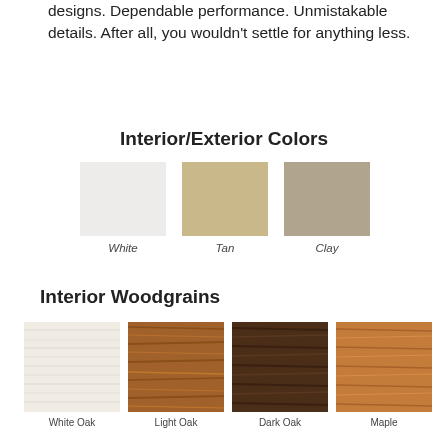designs. Dependable performance. Unmistakable details. After all, you wouldn't settle for anything less.
Interior/Exterior Colors
[Figure (infographic): Three color swatches: White (light gray), Tan (beige), Clay (warm gray-beige), with italic labels below each swatch]
Interior Woodgrains
[Figure (infographic): Four woodgrain swatches: White Oak (light whitish grain), Light Oak (medium brown grain), Dark Oak (dark brown grain), Maple (warm tan grain), with labels below each swatch]